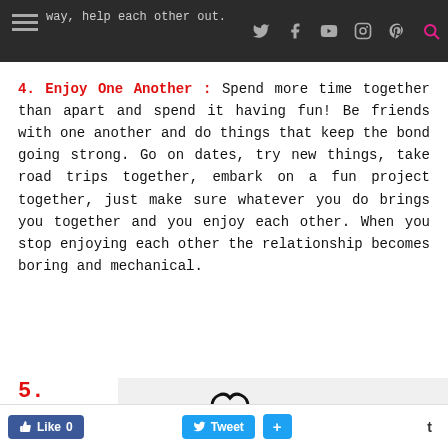way, help each other out.
4. Enjoy One Another : Spend more time together than apart and spend it having fun! Be friends with one another and do things that keep the bond going strong. Go on dates, try new things, take road trips together, embark on a fun project together, just make sure whatever you do brings you together and you enjoy each other. When you stop enjoying each other the relationship becomes boring and mechanical.
5. Forgive
[Figure (illustration): Hand-drawn stick figures with a heart shape above them and the letter I, suggesting an 'I love you' theme]
Like 0   Tweet   +   t